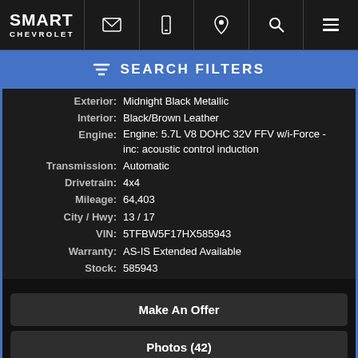SMART CHEVROLET
SEARCH FILTERS
| Label | Value |
| --- | --- |
| Exterior: | Midnight Black Metallic |
| Interior: | Black/Brown Leather |
| Engine: | Engine: 5.7L V8 DOHC 32V FFV w/i-Force -inc: acoustic control induction |
| Transmission: | Automatic |
| Drivetrain: | 4x4 |
| Mileage: | 64,403 |
| City / Hwy: | 13 / 17 |
| VIN: | 5TFBW5F17HX585943 |
| Warranty: | AS-IS Extended Available |
| Stock: | 585943 |
Make An Offer
Photos (42)
[Figure (logo): CARFAX logo]